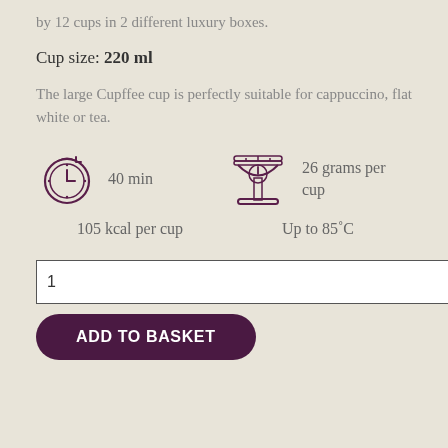by 12 cups in 2 different luxury boxes.
Cup size: 220 ml
The large Cupffee cup is perfectly suitable for cappuccino, flat white or tea.
[Figure (infographic): Two icons: a clock/timer showing 40 min, and a kitchen scale showing 26 grams per cup]
105 kcal per cup
Up to 85˚C
1
ADD TO BASKET